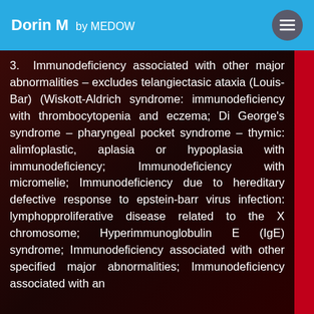Dorin M by MEDOW
3. Immunodeficiency associated with other major abnormalities – excludes telangiectasic ataxia (Louis-Bar) (Wiskott-Aldrich syndrome: immunodeficiency with thrombocytopenia and eczema; Di George's syndrome – pharyngeal pocket syndrome – thymic: alimfoplastic, aplasia or hypoplasia with immunodeficiency; Immunodeficiency with micromelie; Immunodeficiency due to hereditary defective response to epstein-barr virus infection: lymphopproliferative disease related to the X chromosome; Hyperimmunoglobulin E (IgE) syndrome; Immunodeficiency associated with other specified major abnormalities; Immunodeficiency associated with an